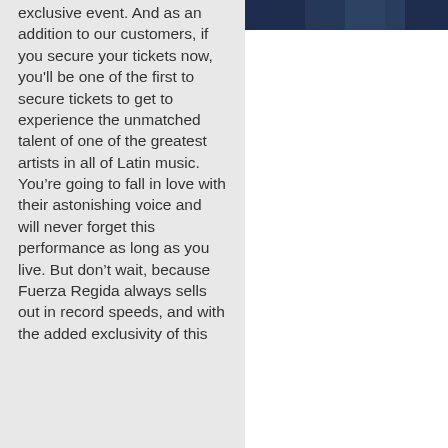[Figure (photo): Dark photograph showing a performer, partially visible at the top right of the page]
exclusive event. And as an addition to our customers, if you secure your tickets now, you'll be one of the first to secure tickets to get to experience the unmatched talent of one of the greatest artists in all of Latin music. You're going to fall in love with their astonishing voice and will never forget this performance as long as you live. But don't wait, because Fuerza Regida always sells out in record speeds, and with the added exclusivity of this